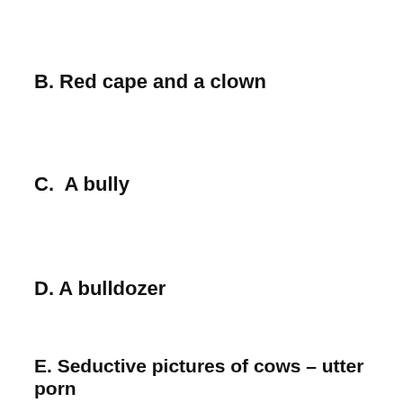B. Red cape and a clown
C.  A bully
D. A bulldozer
E. Seductive pictures of cows – utter porn